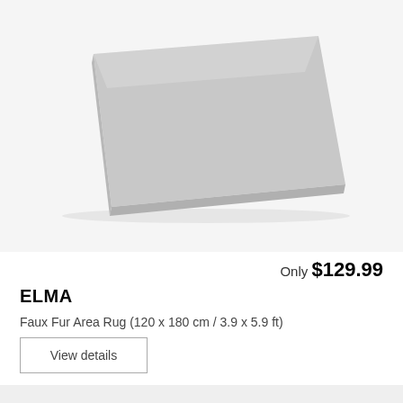[Figure (photo): Light grey faux fur flat area rug photographed from above at an angle, showing rectangular shape with smooth surface on white/light grey background]
Only $129.99
ELMA
Faux Fur Area Rug (120 x 180 cm / 3.9 x 5.9 ft)
View details
[Figure (photo): Close-up of a fluffy grey faux fur rug with long pile, showing texture detail, cropped view from above]